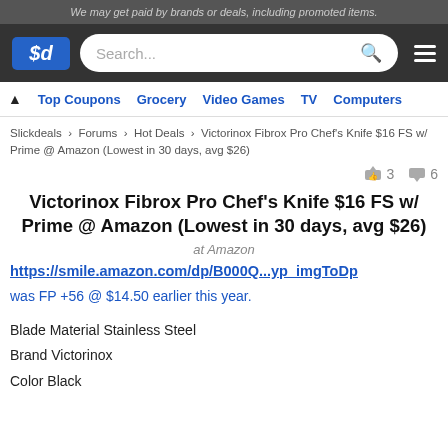We may get paid by brands or deals, including promoted items.
[Figure (logo): Slickdeals logo with $d in white on blue background, search bar, and hamburger menu on dark background]
Top Coupons  Grocery  Video Games  TV  Computers
Slickdeals > Forums > Hot Deals > Victorinox Fibrox Pro Chef's Knife $16 FS w/ Prime @ Amazon (Lowest in 30 days, avg $26)
3  6
Victorinox Fibrox Pro Chef's Knife $16 FS w/ Prime @ Amazon (Lowest in 30 days, avg $26)
at Amazon
https://smile.amazon.com/dp/B000Q...yp_imgToDp
was FP +56 @ $14.50 earlier this year.
Blade Material Stainless Steel
Brand Victorinox
Color Black